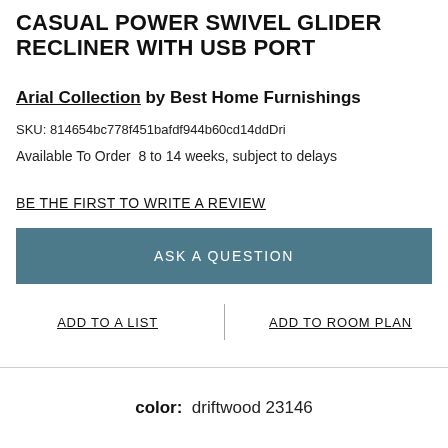CASUAL POWER SWIVEL GLIDER RECLINER WITH USB PORT
Arial Collection by Best Home Furnishings
SKU: 814654bc778f451bafdf944b60cd14ddDri
Available To Order  8 to 14 weeks, subject to delays
BE THE FIRST TO WRITE A REVIEW
ASK A QUESTION
ADD TO A LIST
ADD TO ROOM PLAN
color:  driftwood 23146